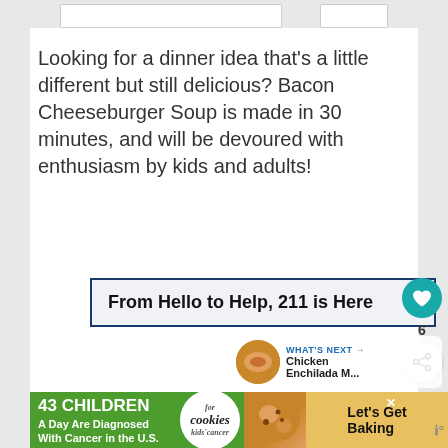[Figure (screenshot): Two rectangular UI boxes side by side at the top of the page, representing navigation or search interface elements]
Looking for a dinner idea that's a little different but still delicious? Bacon Cheeseburger Soup is made in 30 minutes, and will be devoured with enthusiasm by kids and adults!
[Figure (screenshot): Advertisement banner: 'From Hello to Help, 211 is Here' with blue border and close button]
[Figure (screenshot): Heart/like button icon (teal circle) with count 6, and share button below]
[Figure (screenshot): WHAT'S NEXT section with thumbnail of Chicken Enchilada M... and circular food image]
[Figure (screenshot): Bottom advertisement banner: '43 CHILDREN A Day Are Diagnosed With Cancer in the U.S.' with cookies for kids cancer branding and 'Let's Get Baking' call to action]